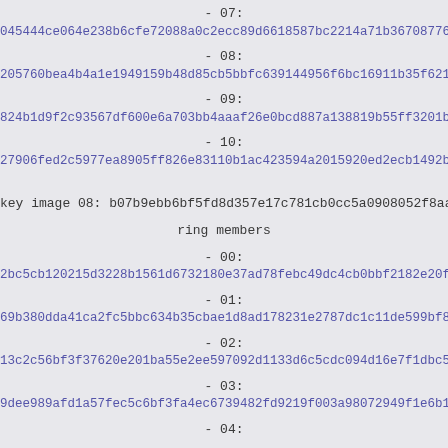- 07:
045444ce064e238b6cfe72088a0c2ecc89d6618587bc2214a71b36708776
- 08:
205760bea4b4a1e1949159b48d85cb5bbfc639144956f6bc16911b35f621
- 09:
824b1d9f2c93567df600e6a703bb4aaaf26e0bcd887a138819b55ff3201b
- 10:
27906fed2c5977ea8905ff826e83110b1ac423594a2015920ed2ecb1492b
key image 08: b07b9ebb6bf5fd8d357e17c781cb0cc5a0908052f8aa48b
ring members
- 00:
2bc5cb120215d3228b1561d6732180e37ad78febc49dc4cb0bbf2182e20f
- 01:
69b380dda41ca2fc5bbc634b35cbae1d8ad178231e2787dc1c11de599bf8
- 02:
13c2c56bf3f37620e201ba55e2ee597092d1133d6c5cdc094d16e7f1dbc5
- 03:
9dee989afd1a57fec5c6bf3fa4ec6739482fd9219f003a98072949f1e6b1
- 04: